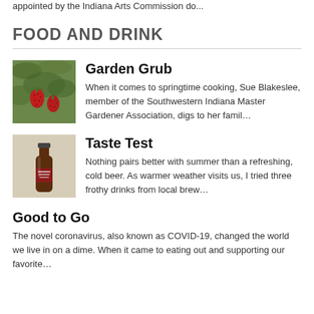appointed by the Indiana Arts Commission do...
FOOD AND DRINK
Garden Grub
When it comes to springtime cooking, Sue Blakeslee, member of the Southwestern Indiana Master Gardener Association, digs to her famil...
Taste Test
Nothing pairs better with summer than a refreshing, cold beer. As warmer weather visits us, I tried three frothy drinks from local brew...
Good to Go
The novel coronavirus, also known as COVID-19, changed the world we live in on a dime. When it came to eating out and supporting our favorite...